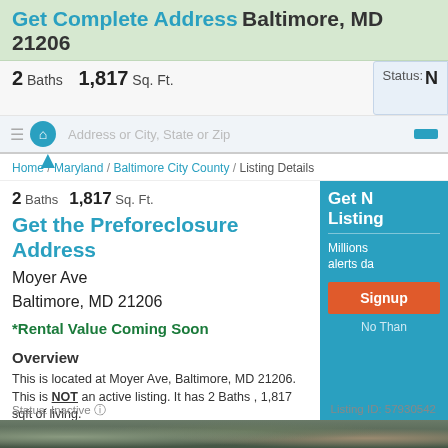Get Complete Address Baltimore, MD 21206
2 Baths  1,817 Sq. Ft.  Status:
Address or City, State or Zip
Home / Maryland / Baltimore City County / Listing Details
2 Baths  1,817 Sq. Ft.
Get the Preforeclosure Address
Moyer Ave
Baltimore, MD 21206
*Rental Value Coming Soon
Get N
Listing
Millions
alerts da
Signup
No Than
Overview
This is located at Moyer Ave, Baltimore, MD 21206. This is NOT an active listing. It has 2 Baths , 1,817 sqft of living. This property is currently in auction.
Save money on this property now.
Status: Inactive   Listing ID: 57930542
[Figure (photo): Outdoor photo of property area, partial view at bottom of page]